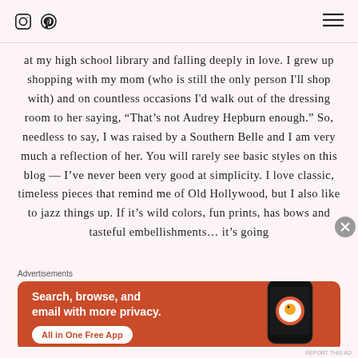Instagram icon, Pinterest icon, Menu icon
at my high school library and falling deeply in love. I grew up shopping with my mom (who is still the only person I'll shop with) and on countless occasions I'd walk out of the dressing room to her saying, "That's not Audrey Hepburn enough." So, needless to say, I was raised by a Southern Belle and I am very much a reflection of her. You will rarely see basic styles on this blog — I've never been very good at simplicity. I love classic, timeless pieces that remind me of Old Hollywood, but I also like to jazz things up. If it's wild colors, fun prints, has bows and tasteful embellishments... it's going
Advertisements
[Figure (screenshot): DuckDuckGo advertisement: orange background with white bold text 'Search, browse, and email with more privacy.' and a white pill button 'All in One Free App', with a phone mockup showing DuckDuckGo logo on the right.]